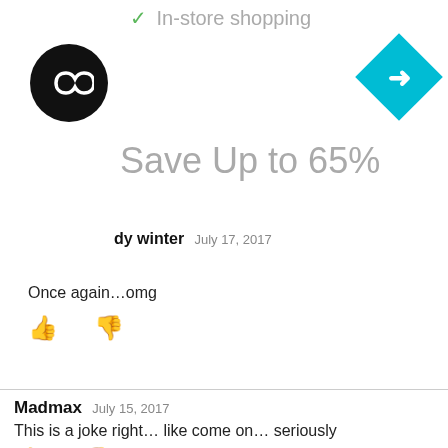[Figure (screenshot): Advertisement banner showing 'In-store shopping' with a checkmark, a black circular logo with infinity-like symbol, a cyan diamond with arrow icon, and 'Save Up to 65%' text in gray. Also shows close/collapse button.]
dy winter  July 17, 2017
Once again...omg
Madmax  July 15, 2017
This is a joke right... like come on... seriously
Reply →
Luke Owens  July 15, 2017
Why do these guys look like Jane Austen heroines? Except for the one who looks like the heroin from _The Great Gatsby_, of course.